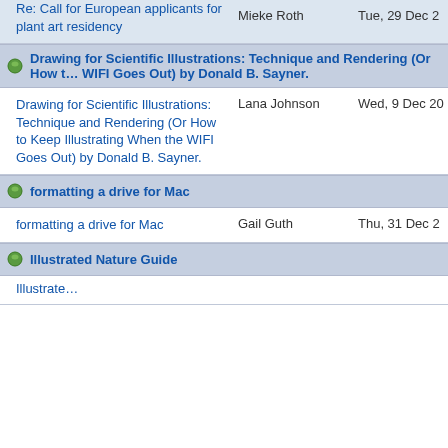Re: Call for European applicants for plant art residency | Mieke Roth | Tue, 29 Dec 2
Drawing for Scientific Illustrations: Technique and Rendering (Or How the WIFI Goes Out) by Donald B. Sayner.
Drawing for Scientific Illustrations: Technique and Rendering (Or How to Keep Illustrating When the WIFI Goes Out) by Donald B. Sayner. | Lana Johnson | Wed, 9 Dec 20
formatting a drive for Mac
formatting a drive for Mac | Gail Guth | Thu, 31 Dec 2
Illustrated Nature Guide